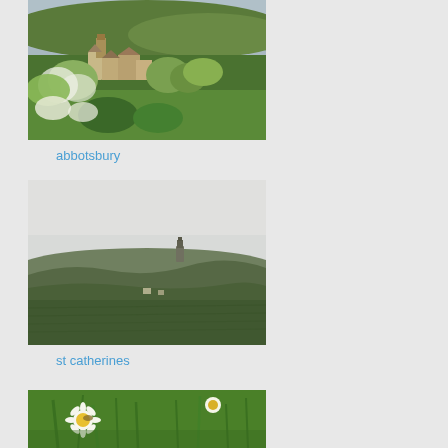[Figure (photo): Aerial/elevated view of Abbotsbury village with stone buildings, church tower, lush green trees and rolling hills in background under blue-grey sky]
abbotsbury
[Figure (photo): Landscape view of St Catherines Chapel on a hill, with rolling green fields in the foreground and a hazy grey-white sky above]
st catherines
[Figure (photo): Close-up of white daisy flowers and green grass/foliage]